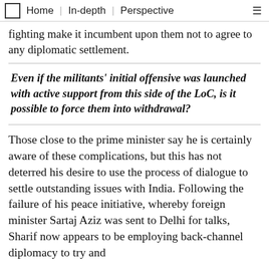Home | In-depth | Perspective
fighting make it incumbent upon them not to agree to any diplomatic settlement.
Even if the militants' initial offensive was launched with active support from this side of the LoC, is it possible to force them into withdrawal?
Those close to the prime minister say he is certainly aware of these complications, but this has not deterred his desire to use the process of dialogue to settle outstanding issues with India. Following the failure of his peace initiative, whereby foreign minister Sartaj Aziz was sent to Delhi for talks, Sharif now appears to be employing back-channel diplomacy to try and